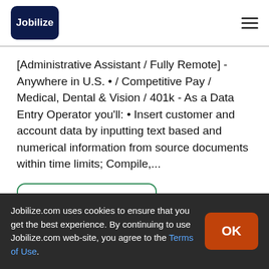[Figure (logo): Jobilize logo: dark navy rounded square with white text 'Jobilize']
[Administrative Assistant / Fully Remote] - Anywhere in U.S. • / Competitive Pay / Medical, Dental & Vision / 401k - As a Data Entry Operator you'll: • Insert customer and account data by inputting text based and numerical information from source documents within time limits; Compile,...
View Job Details
Jobilize.com uses cookies to ensure that you get the best experience. By continuing to use Jobilize.com web-site, you agree to the Terms of Use.